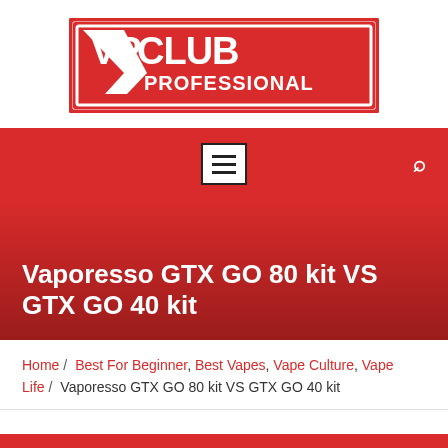[Figure (logo): VP Club Professional logo — red rectangular border with bold white text 'VPCLUB PROFESSIONAL' and a V-shape graphic]
Navigation bar with hamburger menu icon and search icon on red background
Vaporesso GTX GO 80 kit VS GTX GO 40 kit
Home / Best For Beginner, Best Vapes, Vape Culture, Vape Life / Vaporesso GTX GO 80 kit VS GTX GO 40 kit